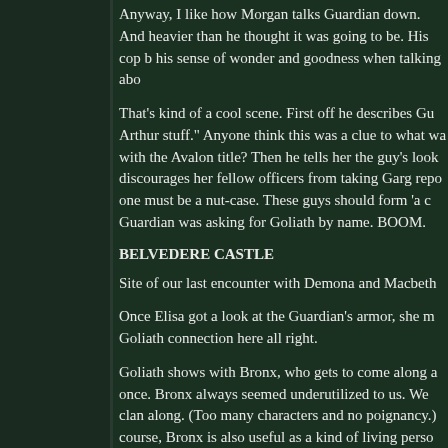Anyway, I like how Morgan talks Guardian down. And heavier than he thought it was going to be. His cop b his sense of wonder and goodness when talking abo
That's kind of a cool scene. First off he describes Gu Arthur stuff." Anyone think this was a clue to what wa with the Avalon title? Then he tells her the guy's look discourages her fellow officers from taking Garg repo one must be a nut-case. These guys should form 'a c Guardian was asking for Goliath by name. BOOM.
BELVEDERE CASTLE
Site of our last encounter with Demona and Macbeth
Once Elisa got a look at the Guardian's armor, she m Goliath connection here all right.
Goliath shows with Bronx, who gets to come along a once. Bronx always seemed underutilized to us. We clan along. (Too many characters and no poignancy.) course, Bronx is also useful as a kind of living perso damn good sign. Bronx likes Tom. Does he remembe